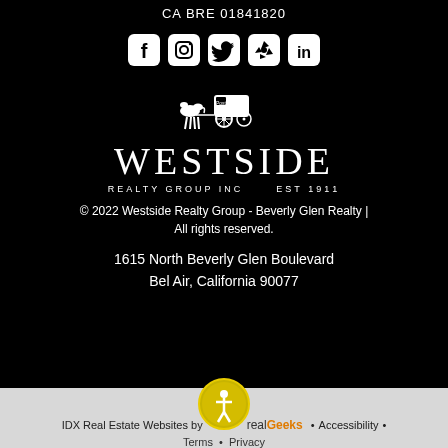CA BRE 01841820
[Figure (illustration): Social media icons: Facebook, Instagram, Twitter, Yelp, LinkedIn in white rounded square icons]
[Figure (logo): Westside Realty Group Inc Est 1911 logo with horse and carriage illustration]
© 2022 Westside Realty Group - Beverly Glen Realty | All rights reserved.
1615 North Beverly Glen Boulevard
Bel Air, California 90077
[Figure (logo): Accessibility icon - person in circle with yellow/gold border]
IDX Real Estate Websites by RealGeeks • Accessibility •
Terms • Privacy